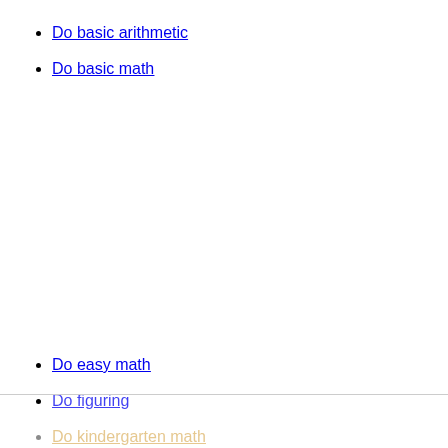Do basic arithmetic
Do basic math
Do easy math
Do figuring
Do kindergarten math